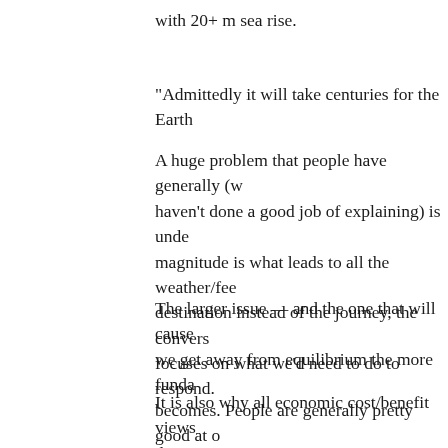with 20+ m sea rise.
“Admittedly it will take centuries for the Earth
A huge problem that people have generally (w haven’t done a good job of explaining) is unde magnitude is what leads to all the weather/fee destination instead of the journey, the convers focuses on what we’d need to do to respond.
The larger issue — and the one that will cause we get away from equilibrium the more funda becomes. People are generally pretty good at o (eventually) but complete randomness and un
It is also why all economic cost/benefit views dangerous.
Personally I think our choices in the intermed